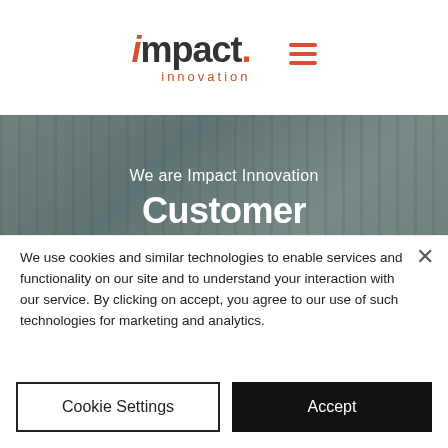[Figure (logo): Impact Innovation logo with orange/red italic 'i', bold 'mpact.' text and 'innovation' subtitle, plus hamburger menu icon]
[Figure (photo): Hero image showing retail store with people, overlaid with white text: 'We are Impact Innovation', 'Customer Innovation', 'fueled by curiosity']
We use cookies and similar technologies to enable services and functionality on our site and to understand your interaction with our service. By clicking on accept, you agree to our use of such technologies for marketing and analytics.
Cookie Settings
Accept